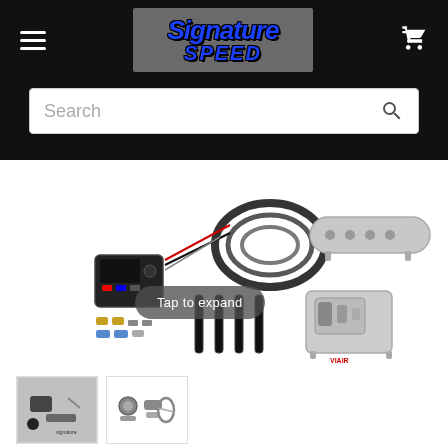Signature Speed - navigation header with hamburger menu, logo, and cart icon
Search
[Figure (photo): Air suspension management kit with wiring harness, air lines, solenoid valves, compressor and air tank components displayed on white background]
Tap to expand
[Figure (photo): Small thumbnail image of air suspension parts on grey background]
[Figure (photo): Small thumbnail image of air suspension fittings and hardware on white background]